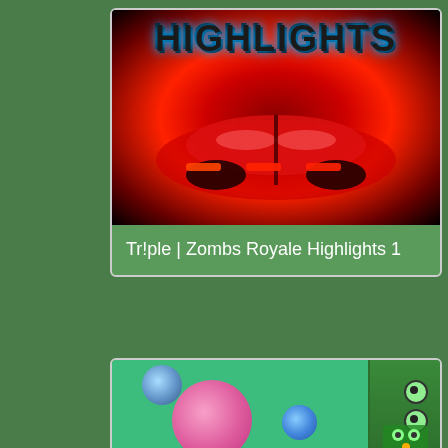[Figure (screenshot): Video thumbnail for 'Tr!ple | Zombs Royale Highlights 1' showing a red car/mechanical scene with lightning effects and large 'HIGHLIGHTS' text in dark metallic font at the top]
Tr!ple | Zombs Royale Highlights 1
[Figure (screenshot): Video thumbnail showing cartoon game characters on a green background - a large pink blob character in center, small blue slime, blue character top-left, and a green robot/character on the right side]